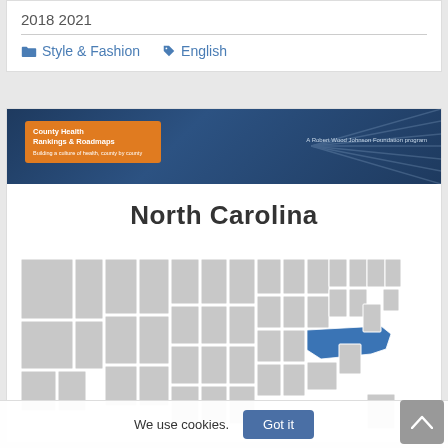2018 2021
Style & Fashion  English
[Figure (map): County Health Rankings & Roadmaps report cover for North Carolina showing a US map with North Carolina highlighted in blue]
We use cookies.
Got it